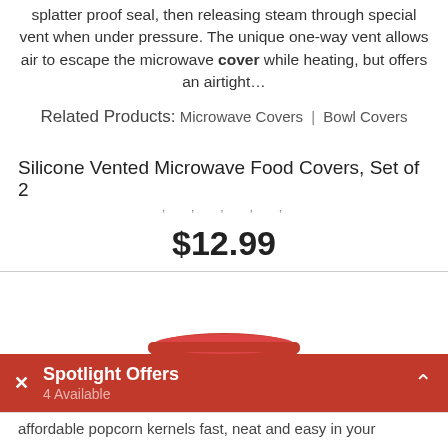splatter proof seal, then releasing steam through special vent when under pressure. The unique one-way vent allows air to escape the microwave cover while heating, but offers an airtight…
Related Products: Microwave Covers | Bowl Covers
Silicone Vented Microwave Food Covers, Set of 2
$12.99
[Figure (photo): Red microwave popcorn popper with clear glass bowl body and red lid and handle]
Spotlight Offers
4 Available
affordable popcorn kernels fast, neat and easy in your